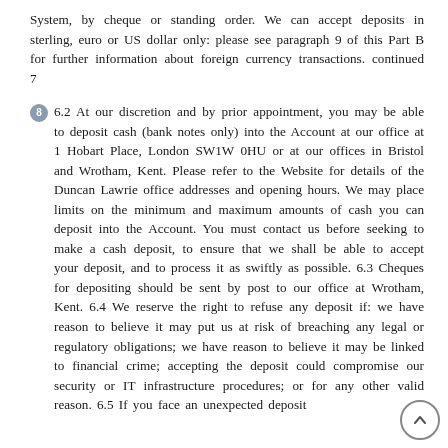System, by cheque or standing order. We can accept deposits in sterling, euro or US dollar only: please see paragraph 9 of this Part B for further information about foreign currency transactions. continued 7
8 6.2 At our discretion and by prior appointment, you may be able to deposit cash (bank notes only) into the Account at our office at 1 Hobart Place, London SW1W 0HU or at our offices in Bristol and Wrotham, Kent. Please refer to the Website for details of the Duncan Lawrie office addresses and opening hours. We may place limits on the minimum and maximum amounts of cash you can deposit into the Account. You must contact us before seeking to make a cash deposit, to ensure that we shall be able to accept your deposit, and to process it as swiftly as possible. 6.3 Cheques for depositing should be sent by post to our office at Wrotham, Kent. 6.4 We reserve the right to refuse any deposit if: we have reason to believe it may put us at risk of breaching any legal or regulatory obligations; we have reason to believe it may be linked to financial crime; accepting the deposit could compromise our security or IT infrastructure procedures; or for any other valid reason. 6.5 If you face an unexpected deposit...